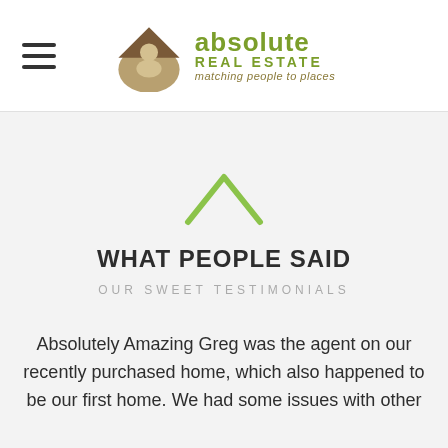[Figure (logo): Absolute Real Estate logo with person icon inside a house shape, olive green color, with tagline 'matching people to places']
[Figure (illustration): Green rooftop / house chevron icon]
WHAT PEOPLE SAID
OUR SWEET TESTIMONIALS
Absolutely Amazing Greg was the agent on our recently purchased home, which also happened to be our first home. We had some issues with other